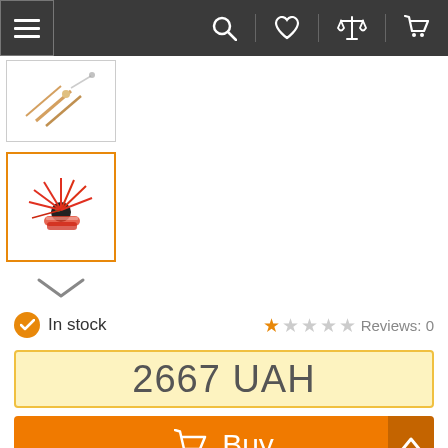Navigation bar with hamburger menu, search, wishlist, compare, and cart icons
[Figure (photo): Fishing lure thumbnail image - first thumbnail (partially visible)]
[Figure (photo): Fishing lure thumbnail image - red/orange jig lure, selected (active border)]
In stock
Reviews: 0
2667 UAH
Buy
+38 (___) ___-__-__
Order in one click